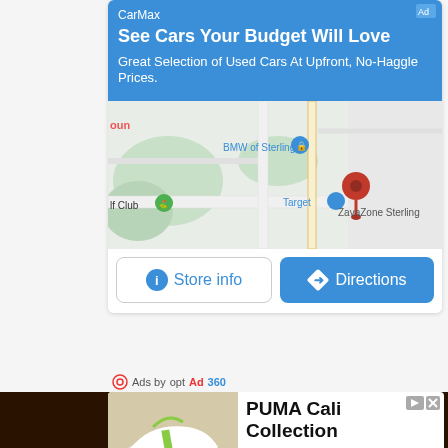[Figure (screenshot): CarMax advertisement banner with blue background showing 'See Cars Your Budget Will Love' headline and map with Store info and Directions buttons]
Ads by opt Ad360
[Figure (screenshot): Dark brown bar separator]
[Figure (screenshot): PUMA Cali Collection advertisement with shoe image, Shop Now button, and PUMA logo]